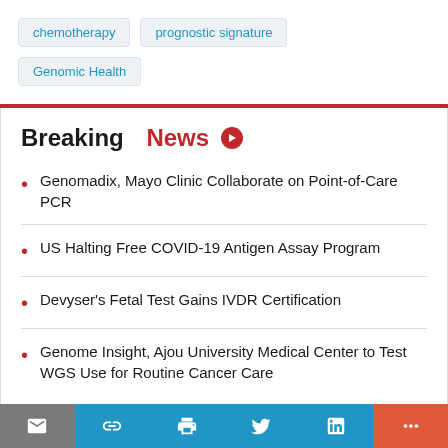chemotherapy
prognostic signature
Genomic Health
Breaking News
Genomadix, Mayo Clinic Collaborate on Point-of-Care PCR
US Halting Free COVID-19 Antigen Assay Program
Devyser's Fetal Test Gains IVDR Certification
Genome Insight, Ajou University Medical Center to Test WGS Use for Routine Cancer Care